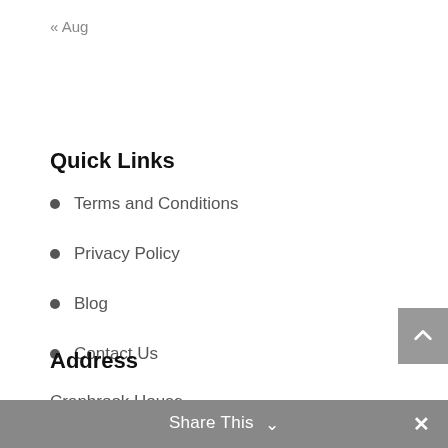« Aug
Quick Links
Terms and Conditions
Privacy Policy
Blog
Contact Us
Address
Cranbrook House,
61 Cranbrook Road,
Ilford,
Share This ∨ ×